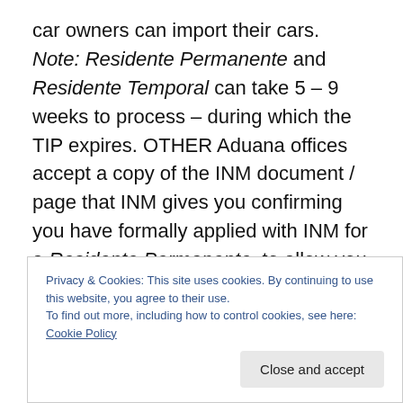car owners can import their cars.   Note: Residente Permanente and Residente Temporal can take 5 – 9 weeks to process – during which the TIP expires. OTHER Aduana offices accept a copy of the INM document / page that INM gives you confirming you have formally applied with INM for a Residente Permanente, to allow you to start the Aduana process while INM is processing your Residency application. So, you make your permanent importation application (using the INM page confirming your INM applicattion), before your TIP expires, and before you receive your Residente Permanente or
Privacy & Cookies: This site uses cookies. By continuing to use this website, you agree to their use.
To find out more, including how to control cookies, see here: Cookie Policy